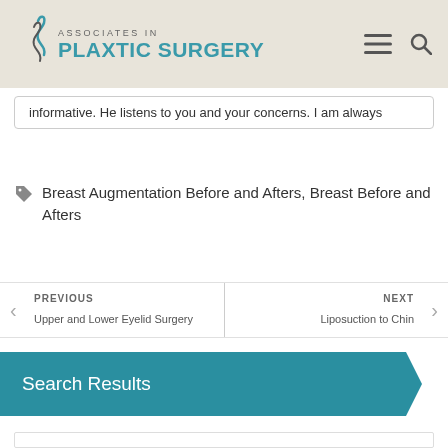[Figure (logo): Associates in Plastic Surgery logo with teal text and decorative swirl icon]
informative. He listens to you and your concerns. I am always
Breast Augmentation Before and Afters, Breast Before and Afters
PREVIOUS
Upper and Lower Eyelid Surgery
NEXT
Liposuction to Chin
Search Results